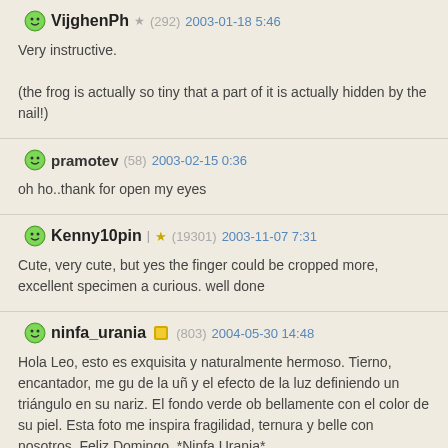VijghenPh (292) 2003-01-18 5:46
Very instructive.
(the frog is actually so tiny that a part of it is actually hidden by the nail!)
pramotev (58) 2003-02-15 0:36
oh ho..thank for open my eyes
Kenny10pin (19301) 2003-11-07 7:31
Cute, very cute, but yes the finger could be cropped more, excellent specimen a curious. well done
ninfa_urania (803) 2004-05-30 14:48
Hola Leo, esto es exquisita y naturalmente hermoso. Tierno, encantador, me gu de la uñ y el efecto de la luz definiendo un triángulo en su nariz. El fondo verde ob bellamente con el color de su piel. Esta foto me inspira fragilidad, ternura y belle con nosotros. Feliz Domingo. *Ninfa Urania*